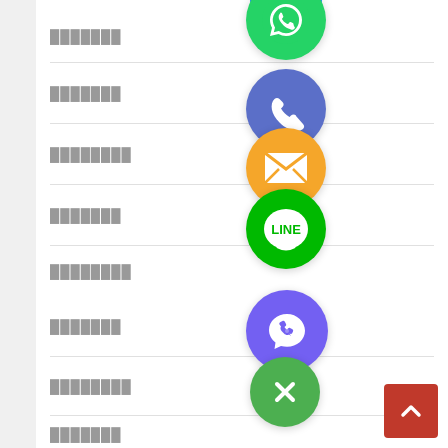[Figure (logo): Blue circle icon (partially visible, cropped at top)]
███████
[Figure (logo): WhatsApp green circle icon]
███████
[Figure (logo): Phone call blue-purple circle icon]
████████
[Figure (logo): Orange mail/email circle icon]
███████
[Figure (logo): LINE green circle icon]
████████
[Figure (logo): Viber purple circle icon]
███████
[Figure (logo): Green circle with X (close/delete) icon]
████████
███████